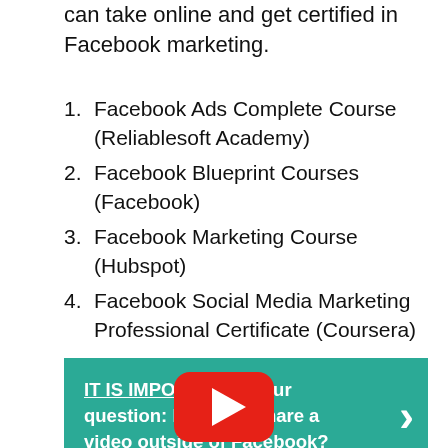can take online and get certified in Facebook marketing.
1. Facebook Ads Complete Course (Reliablesoft Academy)
2. Facebook Blueprint Courses (Facebook)
3. Facebook Marketing Course (Hubspot)
4. Facebook Social Media Marketing Professional Certificate (Coursera)
IT IS IMPORTANT: Your question: How do I share a video outside of Facebook?
[Figure (logo): YouTube logo icon (red rounded rectangle with white play button triangle)]